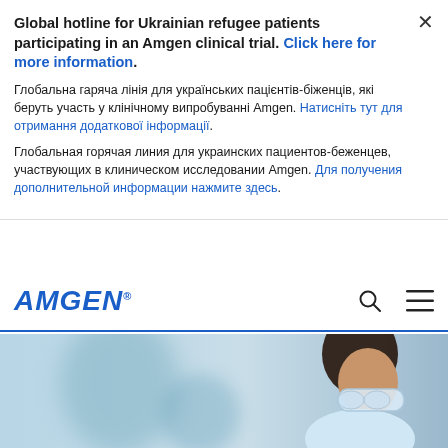Global hotline for Ukrainian refugee patients participating in an Amgen clinical trial. Click here for more information.
Глобальна гаряча лінія для українських пацієнтів-біженців, які беруть участь у клінічному випробуванні Amgen. Натисніть тут для отримання додаткової інформації.
Глобальная горячая линия для украинских пациентов-беженцев, участвующих в клиническом исследовании Amgen. Для получения дополнительной информации нажмите здесь.
[Figure (logo): AMGEN logo in blue italic bold text with registered trademark symbol]
[Figure (photo): Scientist woman wearing safety goggles in a laboratory setting with blurred blue-toned background]